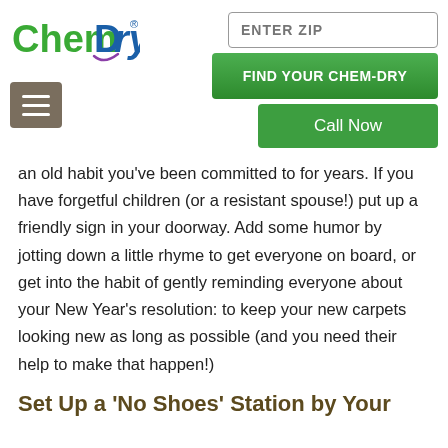[Figure (logo): Chem-Dry logo with green 'Chem' and blue 'Dry' text and registered trademark symbol]
[Figure (other): Hamburger menu button (three horizontal lines on brown/taupe background)]
[Figure (other): ENTER ZIP text input field]
[Figure (other): FIND YOUR CHEM-DRY green button]
[Figure (other): Call Now green button]
an old habit you've been committed to for years. If you have forgetful children (or a resistant spouse!) put up a friendly sign in your doorway. Add some humor by jotting down a little rhyme to get everyone on board, or get into the habit of gently reminding everyone about your New Year's resolution: to keep your new carpets looking new as long as possible (and you need their help to make that happen!)
Set Up a ‘No Shoes’ Station by Your